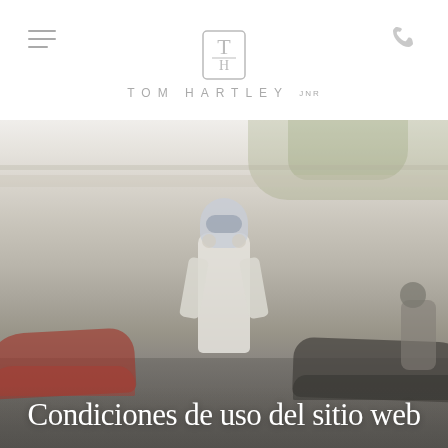TOM HARTLEY JNR
[Figure (photo): Racing driver in white suit with helmet at a race track, standing between vintage racing cars. Background shows track barriers and green trees. Faded/washed out color photo.]
Condiciones de uso del sitio web